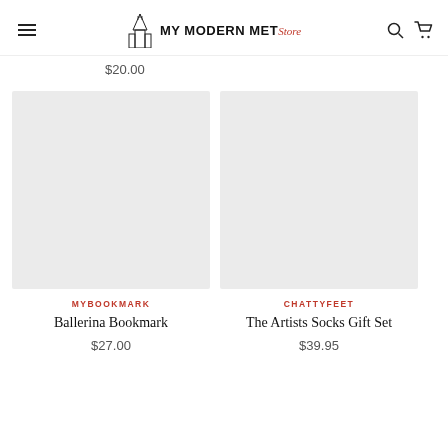MY MODERN MET Store
$20.00
[Figure (photo): Product image placeholder for Ballerina Bookmark (light gray square)]
MYBOOKMARK
Ballerina Bookmark
$27.00
[Figure (photo): Product image placeholder for The Artists Socks Gift Set (light gray square)]
CHATTYFEET
The Artists Socks Gift Set
$39.95